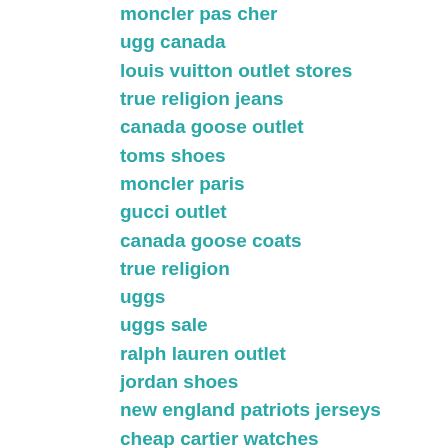moncler pas cher
ugg canada
louis vuitton outlet stores
true religion jeans
canada goose outlet
toms shoes
moncler paris
gucci outlet
canada goose coats
true religion
uggs
uggs sale
ralph lauren outlet
jordan shoes
new england patriots jerseys
cheap cartier watches
jordan 13
ugg canada
coach outlet
uggs boots
celine handbags
jordan shoes